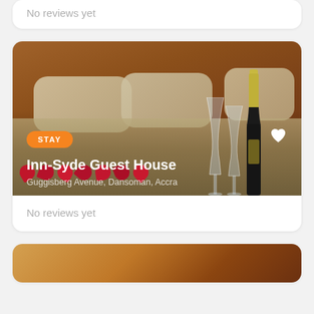No reviews yet
[Figure (photo): Hotel room image showing a wooden headboard, decorative pillows, champagne bottle, two wine glasses, and red rose petals on a bed. Has an orange 'STAY' badge and white heart icon overlaid.]
Inn-Syde Guest House
Guggisberg Avenue, Dansoman, Accra
No reviews yet
[Figure (photo): Partial view of another hotel listing image with warm orange/brown tones.]